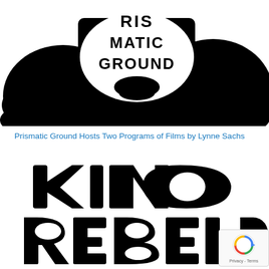[Figure (illustration): Top portion of a black and white illustration showing text 'RIS MATIC GROUND' on what appears to be a shirt or torso, cropped at top]
Prismatic Ground Hosts Two Programs of Films by Lynne Sachs
[Figure (logo): Black hand-lettered logo reading 'KINO REBELDE' in bold brush-stroke style typography, partially cut off on right side]